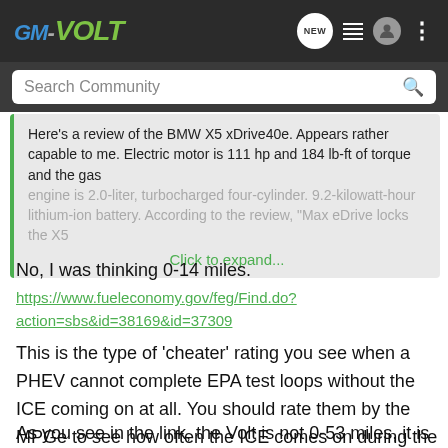GM-VOLT
Search Community
Here's a review of the BMW X5 xDrive40e. Appears rather capable to me. Electric motor is 111 hp and 184 lb-ft of torque and the gas engine is 2.0-liter, turbocharged four-cylinder. 9.2-kilowatt-hour lithium-ion battery. According to the review, "Max eDrive locks the X5 Click to expand...
No, I was thinking 0-14 miles.
https://www.fueleconomy.gov/feg/Find.do?action=sbs&id=38169&id=37309
This is the type of 'cheater' rating you see when a PHEV cannot complete EPA test loops without the ICE coming on at all. You should rate them by the MPGe to see how often the ICE comes on during the EPA cycle.
As you see in the link, the Volt is not 0-53 miles, it is 53 miles AER and it is not compromised because during the EPA